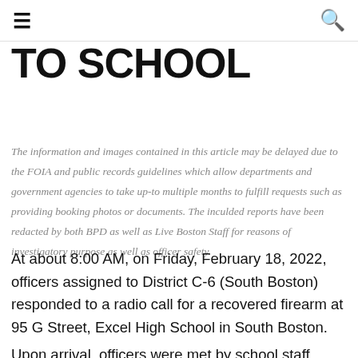≡  🔍
TO SCHOOL
The information and images contained in this article may be delayed due to the FOIA and public records guidelines which allow departments and government agencies to take up-to multiple months to fulfill requests such as providing booking photos or documents. The inculded reports have been redacted by both BPD as well as Live Boston Staff for reasons of investigatory purpose as well as officer safety.
At about 8:00 AM, on Friday, February 18, 2022, officers assigned to District C-6 (South Boston) responded to a radio call for a recovered firearm at 95 G Street, Excel High School in South Boston.
Upon arrival, officers were met by school staff members